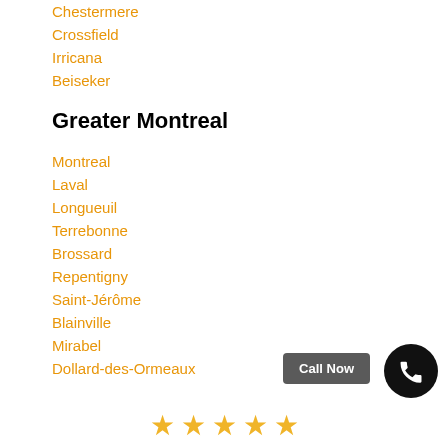Chestermere
Crossfield
Irricana
Beiseker
Greater Montreal
Montreal
Laval
Longueuil
Terrebonne
Brossard
Repentigny
Saint-Jérôme
Blainville
Mirabel
Dollard-des-Ormeaux
Call Now
[Figure (other): Phone call icon circle button]
[Figure (other): Five gold star rating row]